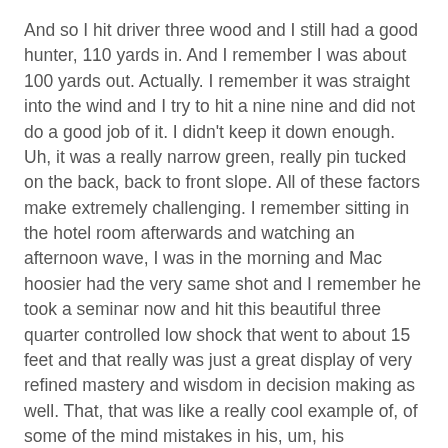And so I hit driver three wood and I still had a good hunter, 110 yards in. And I remember I was about 100 yards out. Actually. I remember it was straight into the wind and I try to hit a nine nine and did not do a good job of it. I didn't keep it down enough. Uh, it was a really narrow green, really pin tucked on the back, back to front slope. All of these factors make extremely challenging. I remember sitting in the hotel room afterwards and watching an afternoon wave, I was in the morning and Mac hoosier had the very same shot and I remember he took a seminar now and hit this beautiful three quarter controlled low shock that went to about 15 feet and that really was just a great display of very refined mastery and wisdom in decision making as well. That, that was like a really cool example of, of some of the mind mistakes in his, um, his refinement and that, which was really impressive to see.
You said that you drove the ball a long way, typically off the tee. How far could you consistently drive a golf ball at this point in your career?